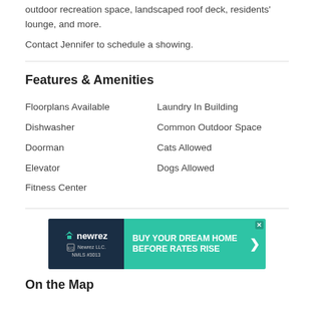outdoor recreation space, landscaped roof deck, residents' lounge, and more.
Contact Jennifer to schedule a showing.
Features & Amenities
Floorplans Available
Dishwasher
Doorman
Elevator
Fitness Center
Laundry In Building
Common Outdoor Space
Cats Allowed
Dogs Allowed
[Figure (screenshot): Newrez advertisement: BUY YOUR DREAM HOME BEFORE RATES RISE]
On the Map